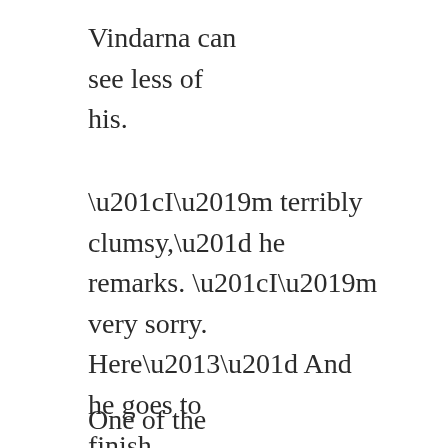Vindarna can see less of his.
“I’m terribly clumsy,” he remarks. “I’m very sorry. Here–” And he goes to finish pouring the wine.
One of the